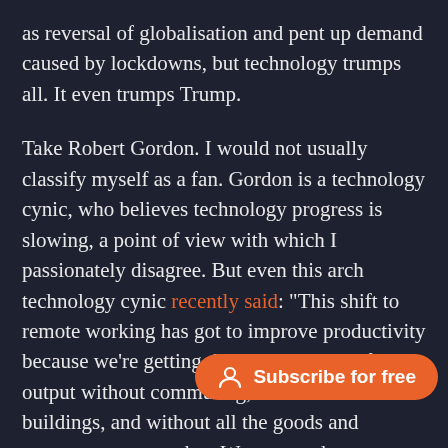as reversal of globalisation and pent up demand caused by lockdowns, but technology trumps all. It even trumps Trump.
Take Robert Gordon. I would not usually classify myself as a fan. Gordon is a technology cynic, who believes technology progress is slowing, a point of view with which I passionately disagree. But even this arch technology cynic recently said: "This shift to remote working has got to improve productivity because we're getting the same amount of output without commuting, without office buildings, and without all the goods and s[…] that. We can produce outp[…] it to the rest of the economy electronically, whether it's
[Figure (other): Orange pill-shaped 'Subscribe for free' button with a person/user icon, overlaid on the text]